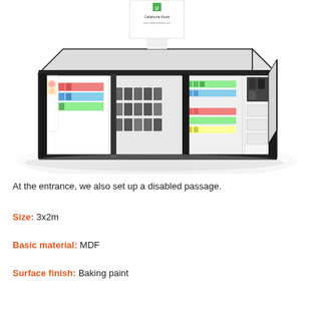[Figure (illustration): 3D rendering of a retail cell phone kiosk with white and black frame, multiple display shelves showing colorful phone cases and accessories, tall branded signage panel on top with green logo, viewed from an isometric perspective on a light gray background.]
At the entrance, we also set up a disabled passage.
Size: 3x2m
Basic material: MDF
Surface finish: Baking paint